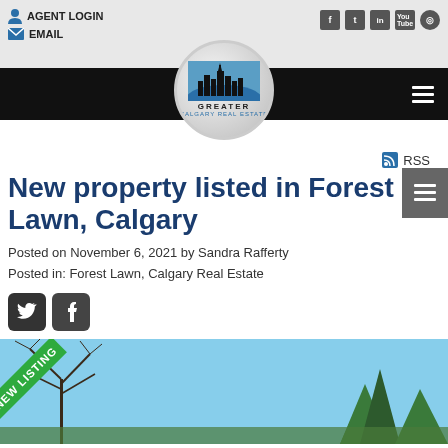AGENT LOGIN  EMAIL
[Figure (logo): Greater Calgary Real Estate circular logo with city skyline]
New property listed in Forest Lawn, Calgary
Posted on November 6, 2021 by Sandra Rafferty
Posted in: Forest Lawn, Calgary Real Estate
[Figure (photo): New property listing photo with NEW LISTING badge, trees and blue sky visible]